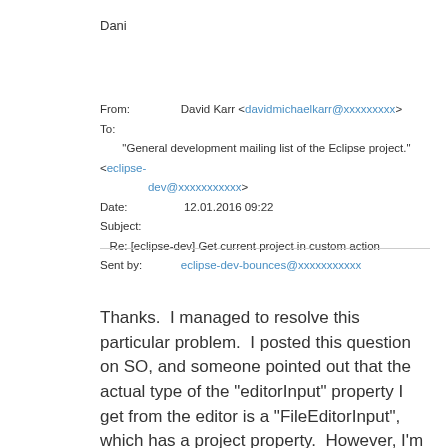Dani
From: David Karr <davidmichaelkarr@xxxxxxxxx>
To: "General development mailing list of the Eclipse project." <eclipse-dev@xxxxxxxxxxx>
Date: 12.01.2016 09:22
Subject: Re: [eclipse-dev] Get current project in custom action
Sent by: eclipse-dev-bounces@xxxxxxxxxxx
Thanks.  I managed to resolve this particular problem.  I posted this question on SO, and someone pointed out that the actual type of the "editorInput" property I get from the editor is a "FileEditorInput", which has a project property.  However, I'm now seeing another similar "action" issue with this, and the continuation of it is out of f